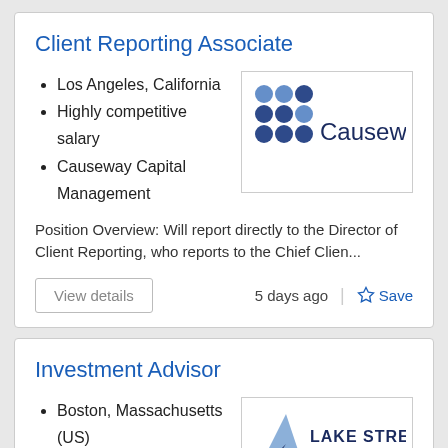Client Reporting Associate
Los Angeles, California
Highly competitive salary
Causeway Capital Management
[Figure (logo): Causeway Capital Management logo with blue hexagonal dots and wordmark]
Position Overview: Will report directly to the Director of Client Reporting, who reports to the Chief Clien...
View details   5 days ago | ☆ Save
Investment Advisor
Boston, Massachusetts (US)
competitive pay,
[Figure (logo): Lake Street Advisors logo with blue triangle and wordmark]